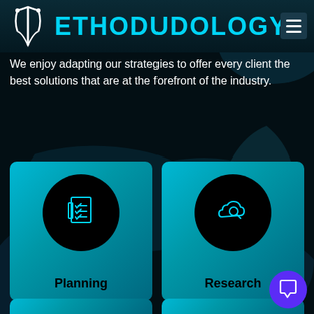METHODOLOGY
We enjoy adapting our strategies to offer every client the best solutions that are at the forefront of the industry.
[Figure (infographic): Planning card with checklist icon in black circle on teal card, labeled 'Planning']
[Figure (infographic): Research card with cloud/magnifier icon in black circle on teal card, labeled 'Research']
[Figure (infographic): Partial bottom-left card (partially visible)]
[Figure (infographic): Partial bottom-right card (partially visible)]